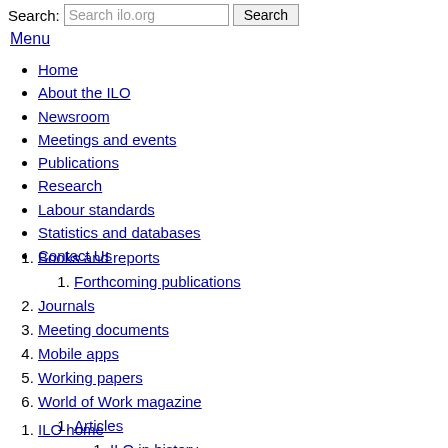Search: Search ilo.org [Search]
Menu
Home
About the ILO
Newsroom
Meetings and events
Publications
Research
Labour standards
Statistics and databases
Contact Us
1. Books and reports
  1. Forthcoming publications
2. Journals
3. Meeting documents
4. Mobile apps
5. Working papers
6. World of Work magazine
  1. Articles
    1. ILO in history
  2. Issues
1. ILO home